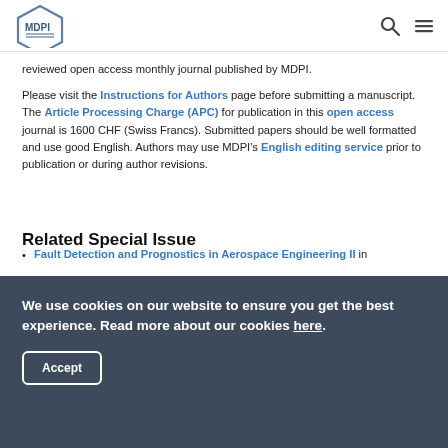MDPI logo with search and menu icons
reviewed open access monthly journal published by MDPI.
Please visit the Instructions for Authors page before submitting a manuscript. The Article Processing Charge (APC) for publication in this open access journal is 1600 CHF (Swiss Francs). Submitted papers should be well formatted and use good English. Authors may use MDPI's English editing service prior to publication or during author revisions.
Related Special Issue
Fault Detection and Prognostics in Aerospace Engineering II in
We use cookies on our website to ensure you get the best experience. Read more about our cookies here.
Accept